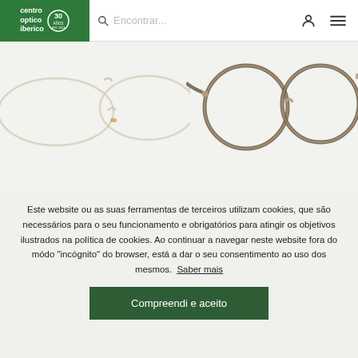centro optico iberico | Encontrar... [search icon] [user icon] [menu icon]
[Figure (photo): Two pairs of eyeglasses displayed on a light background: left pair is a transparent/crystal cat-eye style frame, right pair is a round metal frame with brown/tortoise temples.]
Este website ou as suas ferramentas de terceiros utilizam cookies, que são necessários para o seu funcionamento e obrigatórios para atingir os objetivos ilustrados na política de cookies. Ao continuar a navegar neste website fora do módo "incógnito" do browser, está a dar o seu consentimento ao uso dos mesmos. Saber mais
Compreendi e aceito